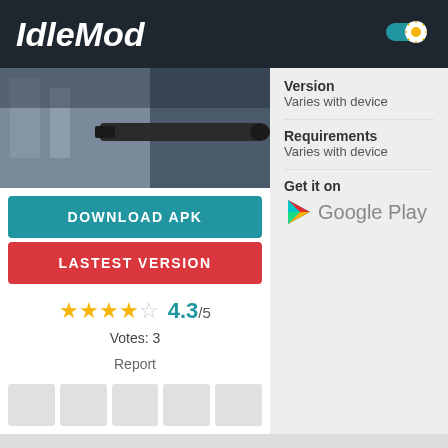IdleMod
[Figure (screenshot): App screenshot showing a dark urban scene with a weapon/barrel in foreground]
DOWNLOAD APK
LASTEST VERSION
4.3/5
Votes: 3
Report
Version
Varies with device
Requirements
Varies with device
Get it on
Google Play
IMAGES
[Figure (photo): Preview image 1 - golden/warm toned scene]
[Figure (photo): Preview image 2 - dark warm scene]